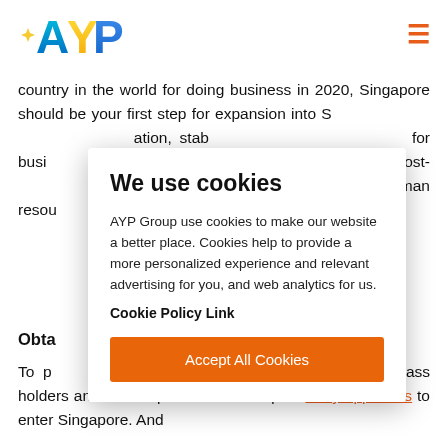[Figure (logo): AYP Group colorful logo with stylized letters A, Y, P in blue, yellow/orange, and blue gradient with a star/sparkle accent]
country in the world for doing business in 2020, Singapore should be your first step for expansion into S[ingapore ...] ation, stab[ility ...] for busi[ness ...] verse pool[...] in a post-[...] h its own [...] man resou[rces ...] oose to m[ake ...] ns.
Obta[in a Work Pass]
To p[ut in place since ...] 9, all work pass holders and their dependants will require entry approvals to enter Singapore. And
We use cookies
AYP Group use cookies to make our website a better place. Cookies help to provide a more personalized experience and relevant advertising for you, and web analytics for us.
Cookie Policy Link
Accept All Cookies